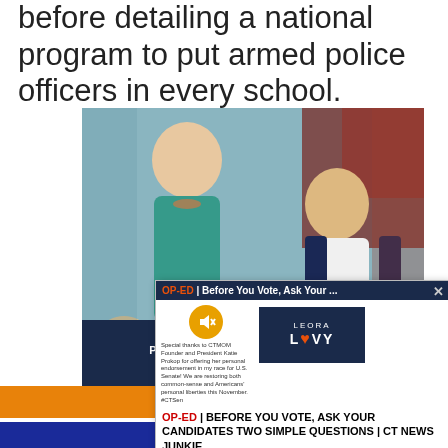before detailing a national program to put armed police officers in every school.
[Figure (screenshot): Photo of Ned Lamont signing legislation, with lower banner overlay reading 'NED LAMONT / PASSED LEGISLATION PROTECTING ABORTION R...' on dark blue background]
[Figure (screenshot): Popup overlay: 'OP-ED | Before You Vote, Ask Your ...' header with Leora Levy logo and text 'OP-ED | BEFORE YOU VOTE, ASK YOUR CANDIDATES TWO SIMPLE QUESTIONS | CT NEWS JUNKIE']
OP-ED | BEFORE YOU VOTE, ASK YOUR CANDIDATES TWO SIMPLE QUESTIONS | CT NEWS JUNKIE